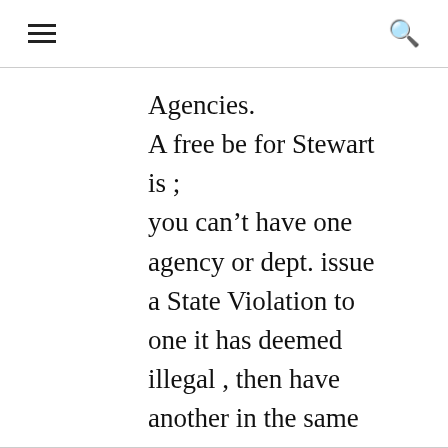≡  🔍
Agencies.
A free be for Stewart is ;
you can't have one agency or dept. issue a State Violation to one it has deemed illegal , then have another in the same “issue”